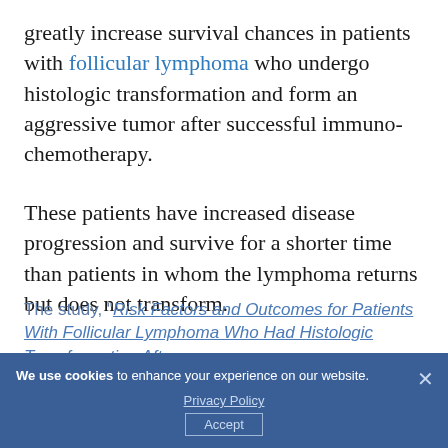greatly increase survival chances in patients with follicular lymphoma who undergo histologic transformation and form an aggressive tumor after successful immuno-chemotherapy.
These patients have increased disease progression and survive for a shorter time than patients in whom the lymphoma returns but does not transform.
The study, "Risk Factors and Outcomes for Patients With Follicular Lymphoma Who Had Histologic Transformation After Response to Front-line...
We use cookies to enhance your experience on our website. Privacy Policy Accept